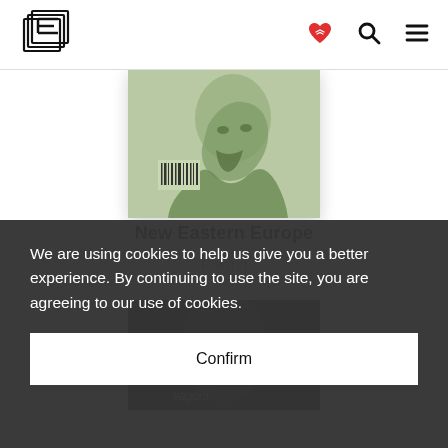New Eastern Europe - logo and navigation icons
[Figure (screenshot): Book cover for New Eastern Europe - sage green cover with illustrated bearded man sketch and barcode]
New Eastern Europe
Poland
We are using cookies to help us give you a better experience. By continuing to use the site, you are agreeing to our use of cookies.
Confirm
[Figure (screenshot): Partially visible second book cover, dark background with illustrated face, partially obscured by cookie banner]